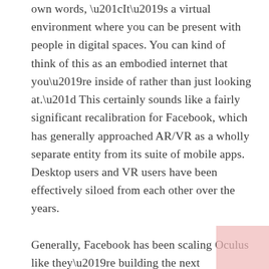own words, “It’s a virtual environment where you can be present with people in digital spaces. You can kind of think of this as an embodied internet that you’re inside of rather than just looking at.” This certainly sounds like a fairly significant recalibration for Facebook, which has generally approached AR/VR as a wholly separate entity from its suite of mobile apps. Desktop users and VR users have been effectively siloed from each other over the years.

Generally, Facebook has been scaling Oculus like they’re building the next smartphone, building its headsets with a native app paradigm at their core. Meanwhile, Zuckerberg’s future-minded “metaverse” sounds much more like what Roblox has been building towards than anything